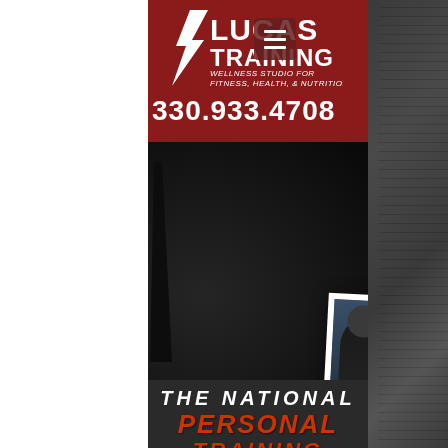[Figure (logo): Lucas Training logo with lightning bolt graphic and text 'LUCAS TRAINING - WELLNESS STUDIO FOR FITNESS, HEALTH, & NUTRITION']
330.933.4708
[Figure (photo): Polaroid-style photo of a personal trainer working with a client doing squats in a gym]
THE NATIONAL PERSONAL TRAINING